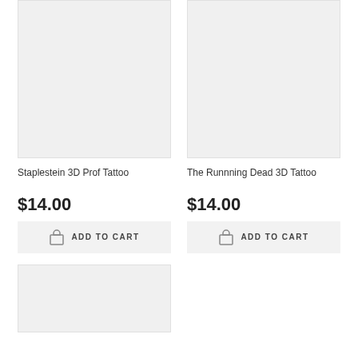[Figure (photo): Product image placeholder for Staplestein 3D Prof Tattoo, light gray background]
[Figure (photo): Product image placeholder for The Runnning Dead 3D Tattoo, light gray background]
Staplestein 3D Prof Tattoo
The Runnning Dead 3D Tattoo
$14.00
$14.00
ADD TO CART
ADD TO CART
[Figure (photo): Product image placeholder (partial, bottom of page), light gray background]